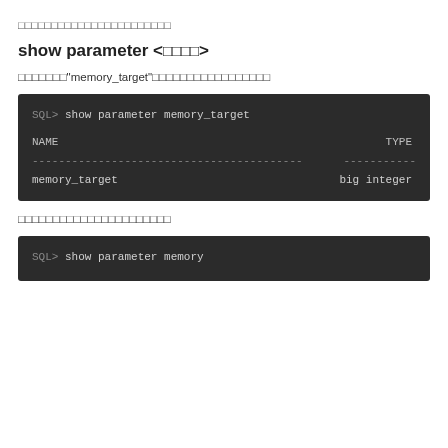□□□□□□□□□□□□□□□□□□□□□□□
show parameter <□□□□>
□□□□□□□"memory_target"□□□□□□□□□□□□□□□□□
[Figure (screenshot): Dark terminal showing SQL> show parameter memory_target command with output table showing NAME and TYPE columns, memory_target row with big integer type]
□□□□□□□□□□□□□□□□□□□□□□
[Figure (screenshot): Dark terminal showing SQL> show parameter memory command (partial view)]